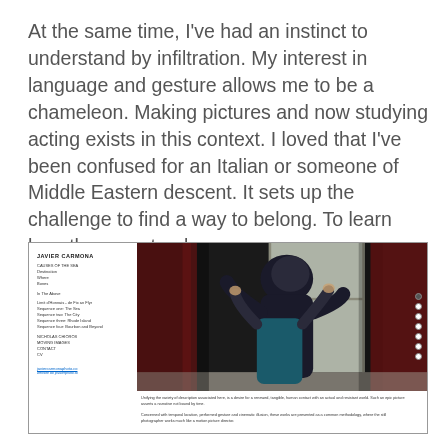At the same time, I've had an instinct to understand by infiltration. My interest in language and gesture allows me to be a chameleon. Making pictures and now studying acting exists in this context. I loved that I've been confused for an Italian or someone of Middle Eastern descent. It sets up the challenge to find a way to belong. To learn how they greet or love.
[Figure (screenshot): Screenshot of Javier Carmona photography website showing a navigation sidebar on the left with menu items (CAUSES OF THE SEA, Destination, Where, Bones, In The Above, Limit d'Honnais - de Fix an Flyr, Sequence one: The Sea, Sequence two: The City, Sequence three: Rhode Island, Sequence four: Bourbon and Beyond, NICHOLAS CHIOROS, MOVING IMAGES, CONTACT, CV) and a large photograph on the right of two people embracing near a window with red curtains, with caption text below about the work.]